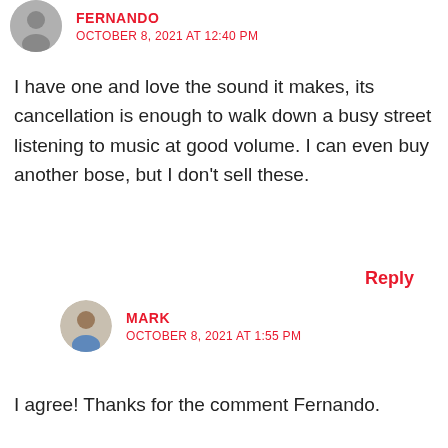FERNANDO
OCTOBER 8, 2021 AT 12:40 PM
I have one and love the sound it makes, its cancellation is enough to walk down a busy street listening to music at good volume. I can even buy another bose, but I don't sell these.
Reply
MARK
OCTOBER 8, 2021 AT 1:55 PM
I agree! Thanks for the comment Fernando.